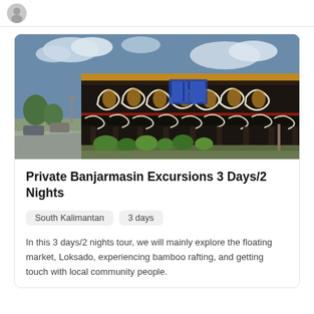[Figure (photo): Top of page showing partial logo/avatar circle at top left, with a white bar and light gray bottom border]
[Figure (photo): Photograph of a traditional Dayak longhouse building with ornate black, white, and gold decorative carvings/paintings on the facade. The building is elevated on pillars, with tropical plants in front and a road/street visible on the left side under a partly cloudy sky.]
Private Banjarmasin Excursions 3 Days/2 Nights
South Kalimantan
3 days
In this 3 days/2 nights tour, we will mainly explore the floating market, Loksado, experiencing bamboo rafting, and getting touch with local community people.